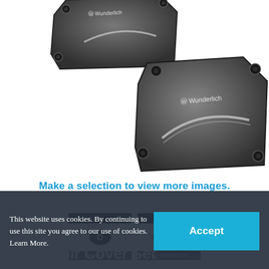[Figure (photo): Two dark grey anodized aluminum reservoir cover plates with 'Wunderlich' branding and silver accent lines, shown on white background. One plate upper-left, one plate center-right.]
Make a selection to view more images.
[Figure (infographic): Two badges: 'MADE IN D GERMANY' and 'MADE BY [wrench/W/wrench icons] WUNDERLICH']
This website uses cookies. By continuing to use this site you agree to our use of cookies. Learn More.
Reservoir Cover Set